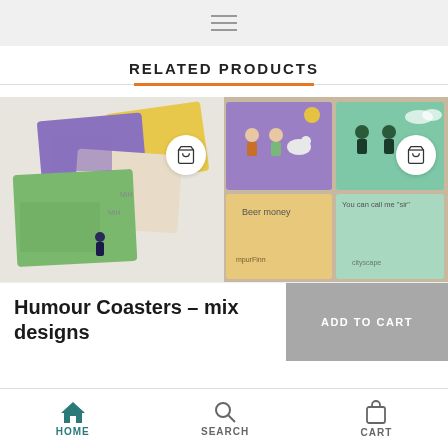Navigation menu header with hamburger icon
RELATED PRODUCTS
[Figure (photo): Left product photo showing colorful Moomin coasters (green, yellow, purple) arranged overlapping on a surface]
[Figure (photo): Right product photo showing Humour Coasters with characters and text 'Beer money' and 'You can call me sir' on purple and green backgrounds]
Humour Coasters – mix designs
HOME  SEARCH  CART